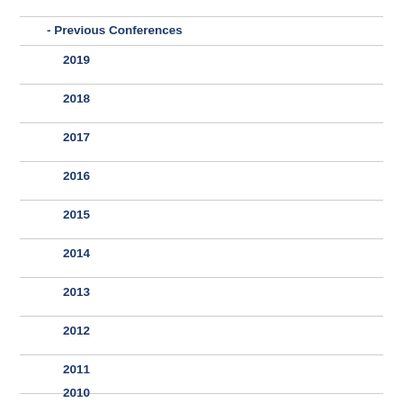- Previous Conferences
2019
2018
2017
2016
2015
2014
2013
2012
2011
2010